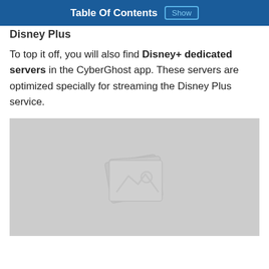Table Of Contents  Show
Disney Plus
To top it off, you will also find Disney+ dedicated servers in the CyberGhost app. These servers are optimized specially for streaming the Disney Plus service.
[Figure (photo): Placeholder image with stacked photo icon on grey background]